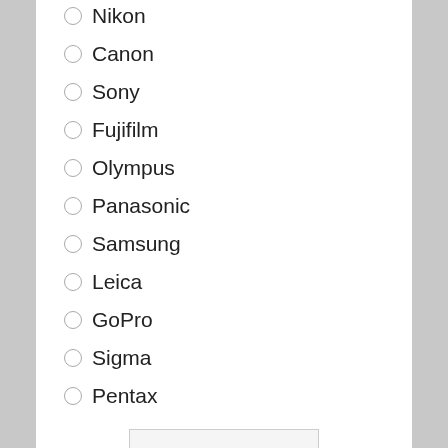Nikon
Canon
Sony
Fujifilm
Olympus
Panasonic
Samsung
Leica
GoPro
Sigma
Pentax
Vote
View Results